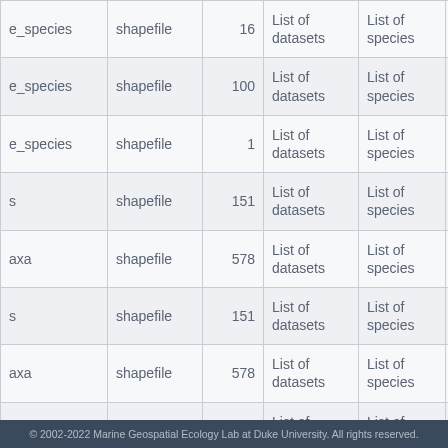| (name) | type | count | datasets | species | id |
| --- | --- | --- | --- | --- | --- |
| e_species | shapefile | 16 | List of datasets | List of species | 53999dec |
| e_species | shapefile | 100 | List of datasets | List of species | 53999dec |
| e_species | shapefile | 1 | List of datasets | List of species | 53999dec |
| s | shapefile | 151 | List of datasets | List of species | 5391ee26 |
| axa | shapefile | 578 | List of datasets | List of species | 5390ee50 |
| s | shapefile | 151 | List of datasets | List of species | 538f6fb32 |
| axa | shapefile | 578 | List of datasets | List of species | 537ddaae |
| axa | shapefile | 578 | List of datasets | List of species | 537ddaae |
| axa | shapefile | 578 | List of datasets | List of species | 537ddaae |
| p | shapefile | 132 | List of | List of | 537ddfb8 |
© 2002-2022 Marine Geospatial Ecology Lab at Duke University. All rights reserved.